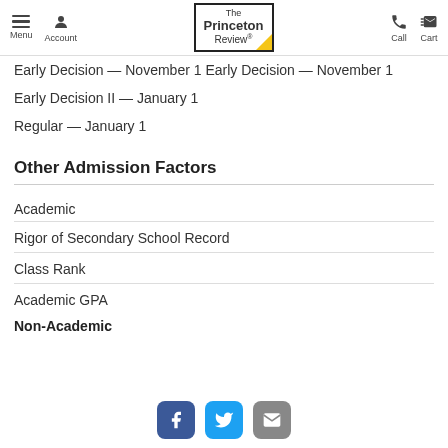Menu | Account | The Princeton Review | Call | Cart
Early Decision — November 1
Early Decision II — January 1
Regular — January 1
Other Admission Factors
Academic
Rigor of Secondary School Record
Class Rank
Academic GPA
Non-Academic
Facebook | Twitter | Email